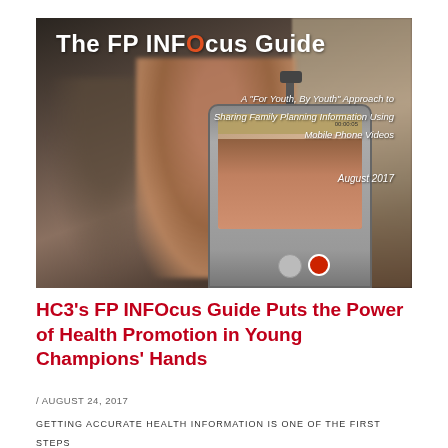[Figure (photo): Cover of The FP INFOcus Guide showing two people being filmed on a smartphone mounted on a selfie stick. The guide subtitle reads: A 'For Youth, By Youth' Approach to Sharing Family Planning Information Using Mobile Phone Videos. August 2017.]
HC3’s FP INFOcus Guide Puts the Power of Health Promotion in Young Champions’ Hands
/ AUGUST 24, 2017
GETTING ACCURATE HEALTH INFORMATION IS ONE OF THE FIRST STEPS